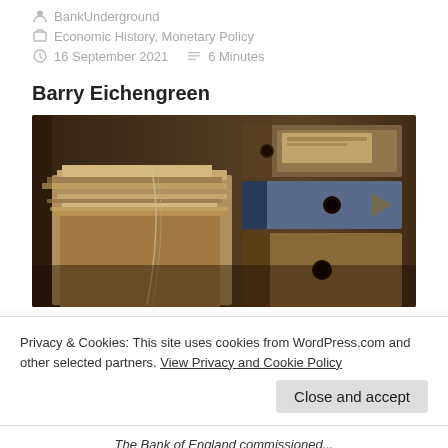BankUnderground
Economic History, Monetary Policy
16 September 2021   6 Minutes
Barry Eichengreen
[Figure (photo): Stack of old worn paper folders and binders filled with aged documents, photographed close-up in dark tones]
Privacy & Cookies: This site uses cookies from WordPress.com and other selected partners. View Privacy and Cookie Policy
Close and accept
The Bank of England commissioned...